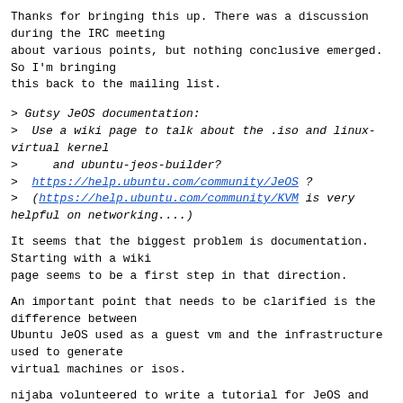Thanks for bringing this up. There was a discussion during the IRC meeting about various points, but nothing conclusive emerged. So I'm bringing this back to the mailing list.
> Gutsy JeOS documentation:
>  Use a wiki page to talk about the .iso and linux-virtual kernel
>    and ubuntu-jeos-builder?
>  https://help.ubuntu.com/community/JeOS ?
>  (https://help.ubuntu.com/community/KVM is very helpful on networking....)
It seems that the biggest problem is documentation. Starting with a wiki page seems to be a first step in that direction.
An important point that needs to be clarified is the difference between Ubuntu JeOS used as a guest vm and the infrastructure used to generate virtual machines or isos.
nijaba volunteered to write a tutorial for JeOS and agreed to use a wiki page for his work (https://help.ubuntu.com/community/JeOS ??).